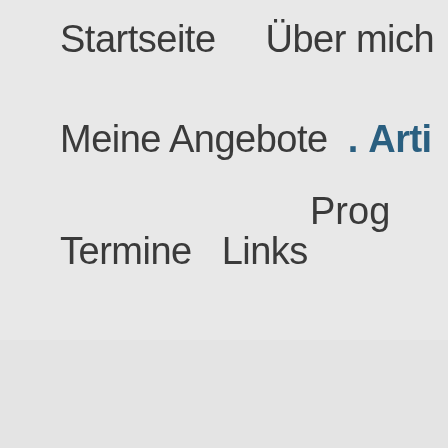Startseite   Über mich
Meine Angebote  · Arti
Prog
Termine   Links
Anxiety during the C